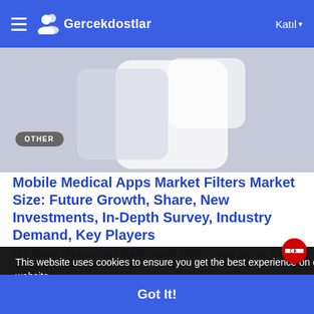Gercekdostlar — Katıl
[Figure (screenshot): Hero image area showing a light gray background with a white rounded rectangle (phone/app mockup shape)]
OTHER
Mobile Medical Apps Market Filters Market Size: Future Growth, Share, New Investments, In-Depth Survey, Industry Demand, Key Players
The Mobile Medical Apps Market report further sheds light on the emerging growth opportunities
This website uses cookies to ensure you get the best experience on our website
Learn More
Got It!